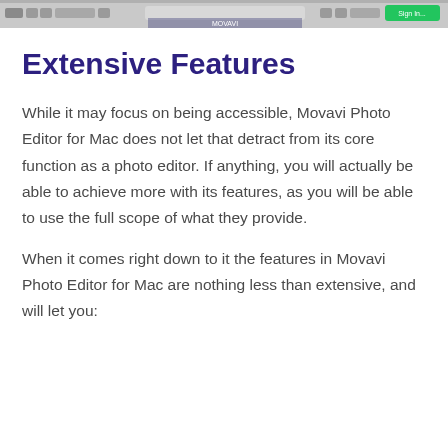[Figure (screenshot): A screenshot of Movavi Photo Editor for Mac application window, showing the top toolbar/menu bar area with a green button visible on the right side.]
Extensive Features
While it may focus on being accessible, Movavi Photo Editor for Mac does not let that detract from its core function as a photo editor. If anything, you will actually be able to achieve more with its features, as you will be able to use the full scope of what they provide.
When it comes right down to it the features in Movavi Photo Editor for Mac are nothing less than extensive, and will let you: